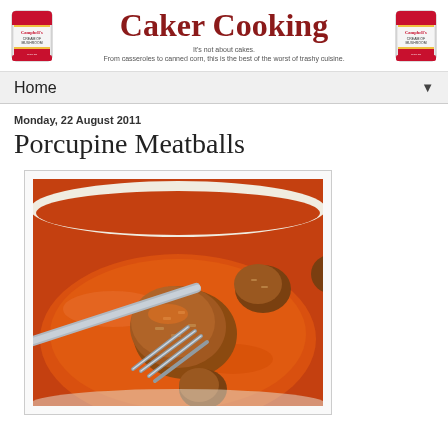[Figure (logo): Caker Cooking blog banner with two Campbell's soup cans on either side and the blog title 'Caker Cooking' in red serif font, with subtitle text 'It's not about cakes. From casseroles to canned corn, this is the best of the worst of trashy cuisine.']
Home ▼
Monday, 22 August 2011
Porcupine Meatballs
[Figure (photo): Photo of porcupine meatballs in orange-red tomato sauce in a white ceramic dish, with a fork lifting one meatball.]